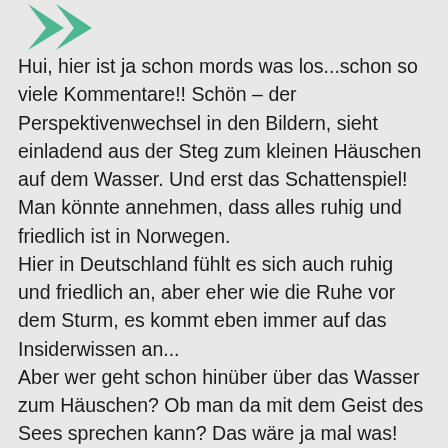[Figure (logo): Two overlapping green leaf/arrow shapes forming a social media or app icon in the top left corner]
Hui, hier ist ja schon mords was los...schon so viele Kommentare!! Schön – der Perspektivenwechsel in den Bildern, sieht einladend aus der Steg zum kleinen Häuschen auf dem Wasser. Und erst das Schattenspiel!
Man könnte annehmen, dass alles ruhig und friedlich ist in Norwegen.
Hier in Deutschland fühlt es sich auch ruhig und friedlich an, aber eher wie die Ruhe vor dem Sturm, es kommt eben immer auf das Insiderwissen an...
Aber wer geht schon hinüber über das Wasser zum Häuschen? Ob man da mit dem Geist des Sees sprechen kann? Das wäre ja mal was!